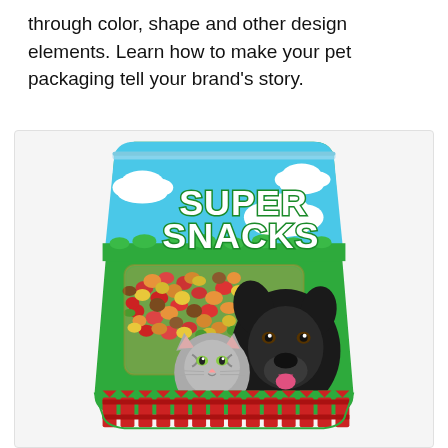through color, shape and other design elements. Learn how to make your pet packaging tell your brand's story.
[Figure (illustration): A colorful pet food package bag labeled 'SUPER SNACKS' with a blue sky and green grass background. The bag shows a transparent window revealing colorful pet food kibble pieces in red, orange, yellow, and brown. A black dog with tongue out and a grey cat are shown in front of the bag. Red decorative fence elements appear at the bottom of the bag.]